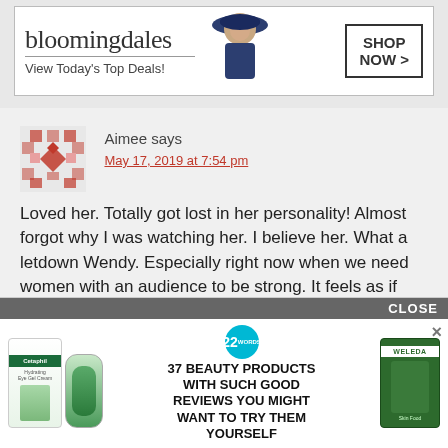[Figure (infographic): Bloomingdale's advertisement banner with logo, 'View Today's Top Deals!' text, woman with hat, and 'SHOP NOW >' button]
[Figure (illustration): Pink/red geometric avatar icon for user Aimee]
Aimee says
May 17, 2019 at 7:54 pm
Loved her. Totally got lost in her personality! Almost forgot why I was watching her. I believe her. What a letdown Wendy. Especially right now when we need women with an audience to be strong. It feels as if there is a national attack on women. A strong woman like Wendy putting up with such bull is sad for women. I majored in women's studies many years ago (double major didn't rely on WS) I never
[Figure (infographic): Advertisement overlay: '37 BEAUTY PRODUCTS WITH SUCH GOOD REVIEWS YOU MIGHT WANT TO TRY THEM YOURSELF' with Cetaphil and Weleda product images, 22 words badge, close button and X button]